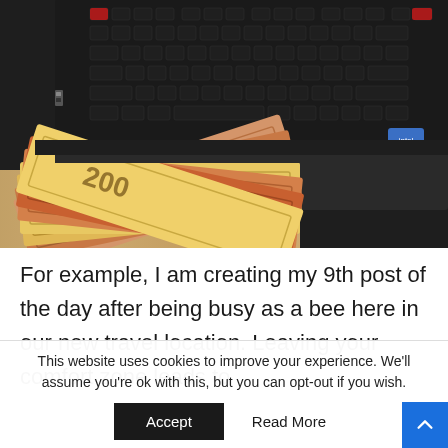[Figure (photo): A black gaming laptop with red backlit keys on a wooden desk, with a fan of orange/brown currency banknotes (200 denomination) emerging from under the laptop.]
For example, I am creating my 9th post of the day after being busy as a bee here in our new travel location. Leaving your comfort zone leads to
This website uses cookies to improve your experience. We'll assume you're ok with this, but you can opt-out if you wish.